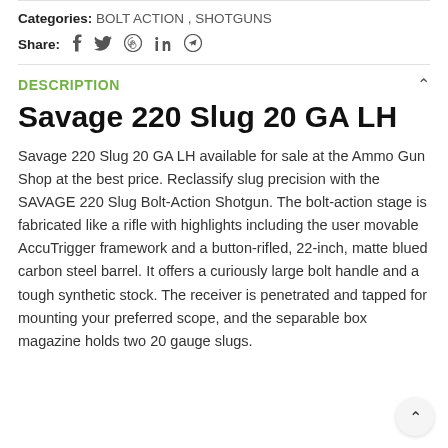Categories: BOLT ACTION , SHOTGUNS
Share:
DESCRIPTION
Savage 220 Slug 20 GA LH
Savage 220 Slug 20 GA LH available for sale at the Ammo Gun Shop at the best price. Reclassify slug precision with the SAVAGE 220 Slug Bolt-Action Shotgun. The bolt-action stage is fabricated like a rifle with highlights including the user movable AccuTrigger framework and a button-rifled, 22-inch, matte blued carbon steel barrel. It offers a curiously large bolt handle and a tough synthetic stock. The receiver is penetrated and tapped for mounting your preferred scope, and the separable box magazine holds two 20 gauge slugs.